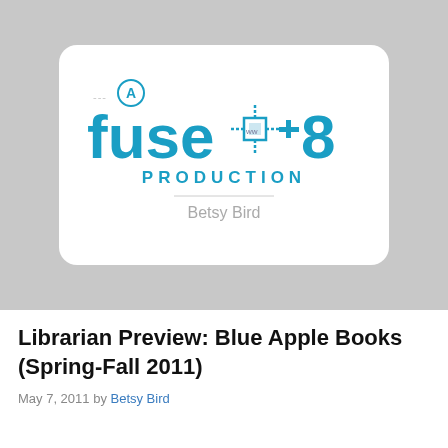[Figure (logo): Fuse #8 Production logo — a blue stylized wordmark reading 'fuse #8' with a circuit/crosshair graphic between the word and number, above it a small circled 'A' with dashes, below in blue caps 'PRODUCTION', followed by a horizontal rule and 'Betsy Bird' in gray text. The logo sits on a white rounded-rectangle card against a gray background.]
Librarian Preview: Blue Apple Books (Spring-Fall 2011)
May 7, 2011 by Betsy Bird